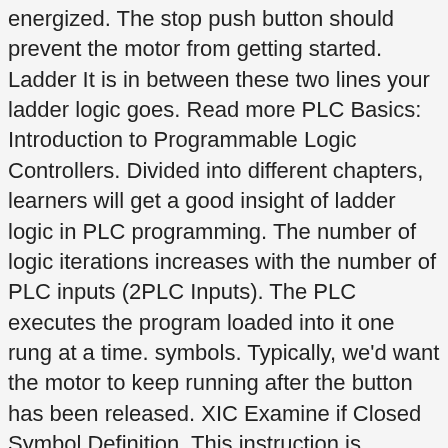energized. The stop push button should prevent the motor from getting started. Ladder It is in between these two lines your ladder logic goes. Read more PLC Basics: Introduction to Programmable Logic Controllers. Divided into different chapters, learners will get a good insight of ladder logic in PLC programming. The number of logic iterations increases with the number of PLC inputs (2PLC Inputs). The PLC executes the program loaded into it one rung at a time. symbols. Typically, we'd want the motor to keep running after the button has been released. XIC Examine if Closed Symbol Definition. This instruction is fundamental in PLCÂ programming and is often seen in basic sequences, de-bouncing logic and any other programs that require timed execution of ladder logic. Because PLC input A and B follows the binary concept and are part of the AND function there are four possible logic iterations. If it's FALSE, it won't. As programmable logic controllers became more sophisticated it has also been used in very complex automation systems. notation (tag names and comments